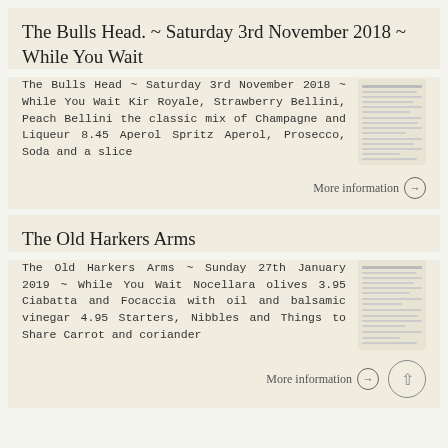The Bulls Head. ~ Saturday 3rd November 2018 ~ While You Wait
The Bulls Head ~ Saturday 3rd November 2018 ~ While You Wait Kir Royale, Strawberry Bellini, Peach Bellini the classic mix of Champagne and Liqueur 8.45 Aperol Spritz Aperol, Prosecco, Soda and a slice
[Figure (other): Thumbnail image of a menu document]
More information →
The Old Harkers Arms
The Old Harkers Arms ~ Sunday 27th January 2019 ~ While You Wait Nocellara olives 3.95 Ciabatta and Focaccia with oil and balsamic vinegar 4.95 Starters, Nibbles and Things to Share Carrot and coriander
[Figure (other): Thumbnail image of a menu document]
More information →